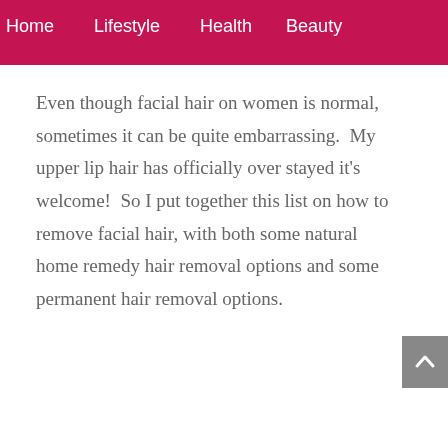Home   Lifestyle   Health   Beauty
Even though facial hair on women is normal, sometimes it can be quite embarrassing.  My upper lip hair has officially over stayed it's welcome!  So I put together this list on how to remove facial hair, with both some natural home remedy hair removal options and some permanent hair removal options.